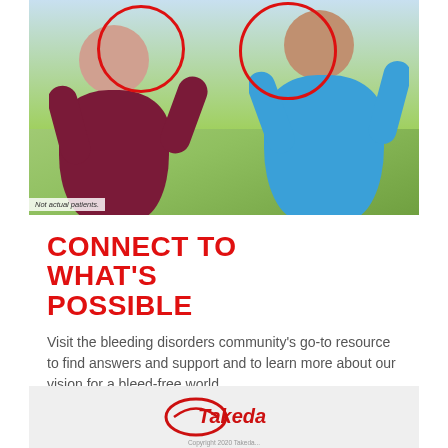[Figure (photo): Two people jogging outdoors, a woman in dark red top and a man in blue shirt, with red circles overlaid on their heads/faces indicating something notable about each person.]
Not actual patients.
CONNECT TO WHAT'S POSSIBLE
Visit the bleeding disorders community's go-to resource to find answers and support and to learn more about our vision for a bleed-free world.
Explore now
[Figure (logo): Takeda pharmaceutical company logo — red oval/lens shape with 'Takeda' text in red italic font inside.]
Copyright 2020 Takeda...